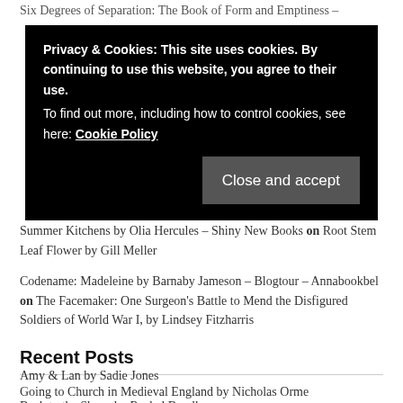Six Degrees of Separation: The Book of Form and Emptiness –
[Figure (screenshot): Cookie consent overlay with black background. Text reads: 'Privacy & Cookies: This site uses cookies. By continuing to use this website, you agree to their use. To find out more, including how to control cookies, see here: Cookie Policy'. A dark grey button labeled 'Close and accept' appears at the bottom right.]
Summer Kitchens by Olia Hercules – Shiny New Books on Root Stem Leaf Flower by Gill Meller
Codename: Madeleine by Barnaby Jameson – Blogtour – Annabookbel on The Facemaker: One Surgeon's Battle to Mend the Disfigured Soldiers of World War I, by Lindsey Fitzharris
Recent Posts
Amy & Lan by Sadie Jones
Going to Church in Medieval England by Nicholas Orme
Back to the Shops by Rachel Bowlby